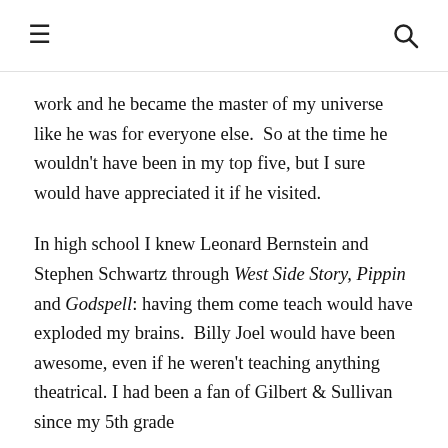☰  🔍
work and he became the master of my universe like he was for everyone else.  So at the time he wouldn't have been in my top five, but I sure would have appreciated it if he visited.
In high school I knew Leonard Bernstein and Stephen Schwartz through West Side Story, Pippin and Godspell: having them come teach would have exploded my brains.  Billy Joel would have been awesome, even if he weren't teaching anything theatrical. I had been a fan of Gilbert & Sullivan since my 5th grade